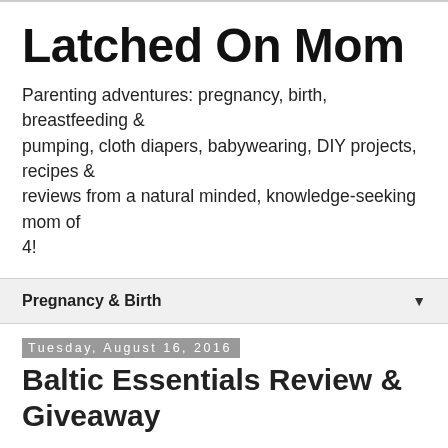Latched On Mom
Parenting adventures: pregnancy, birth, breastfeeding & pumping, cloth diapers, babywearing, DIY projects, recipes & reviews from a natural minded, knowledge-seeking mom of 4!
Pregnancy & Birth
Tuesday, August 16, 2016
Baltic Essentials Review & Giveaway
If you have a fussy, teething baby and reach out for advice on natural remedies, you may have noticed other parents say that the pain their child had with teething was drastically reduced because of their use of a Baltic Amber necklace. You may be wondering how do these necklaces work? How do you know which kind to get?  What is the difference between Baltic Amber and Hazelwood?